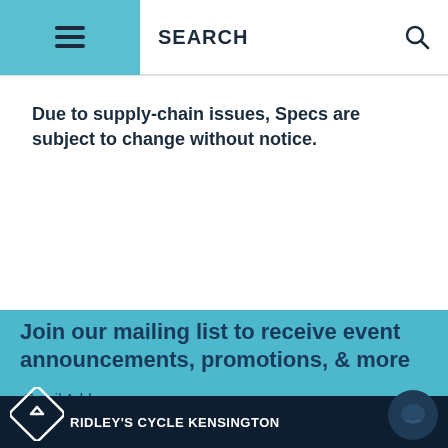SEARCH
Due to supply-chain issues, Specs are subject to change without notice.
Join our mailing list to receive event announcements, promotions, & more
Email Address
RIDLEY'S CYCLE KENSINGTON